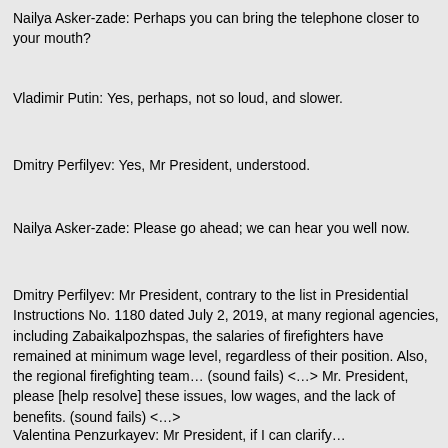Nailya Asker-zade: Perhaps you can bring the telephone closer to your mouth?
Vladimir Putin: Yes, perhaps, not so loud, and slower.
Dmitry Perfilyev: Yes, Mr President, understood.
Nailya Asker-zade: Please go ahead; we can hear you well now.
Dmitry Perfilyev: Mr President, contrary to the list in Presidential Instructions No. 1180 dated July 2, 2019, at many regional agencies, including Zabaikalpozhspas, the salaries of firefighters have remained at minimum wage level, regardless of their position. Also, the regional firefighting team… (sound fails) <…> Mr. President, please [help resolve] these issues, low wages, and the lack of benefits. (sound fails) <…>
Valentina Penzurkayev: Mr President, if I can clarify…